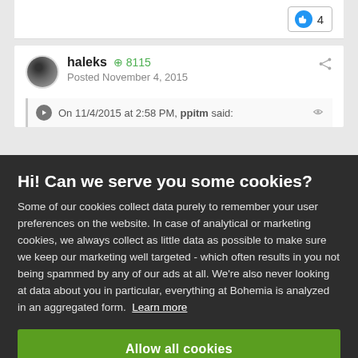4
haleks  +8115
Posted November 4, 2015
On 11/4/2015 at 2:58 PM, ppitm said:
Hi! Can we serve you some cookies?
Some of our cookies collect data purely to remember your user preferences on the website. In case of analytical or marketing cookies, we always collect as little data as possible to make sure we keep our marketing well targeted - which often results in you not being spammed by any of our ads at all. We're also never looking at data about you in particular, everything at Bohemia is analyzed in an aggregated form. Learn more
Allow all cookies
I want more options